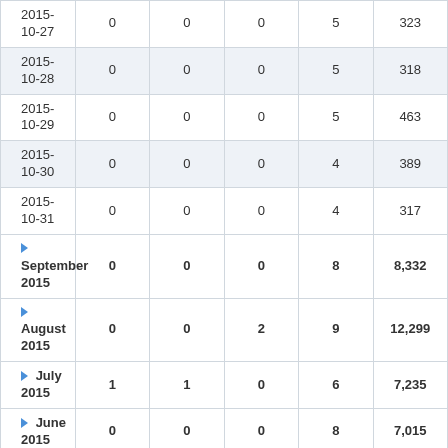| Date | Col1 | Col2 | Col3 | Col4 | Col5 |
| --- | --- | --- | --- | --- | --- |
| 2015-10-27 | 0 | 0 | 0 | 5 | 323 |
| 2015-10-28 | 0 | 0 | 0 | 5 | 318 |
| 2015-10-29 | 0 | 0 | 0 | 5 | 463 |
| 2015-10-30 | 0 | 0 | 0 | 4 | 389 |
| 2015-10-31 | 0 | 0 | 0 | 4 | 317 |
| ▶ September 2015 | 0 | 0 | 0 | 8 | 8,332 |
| ▶ August 2015 | 0 | 0 | 2 | 9 | 12,299 |
| ▶ July 2015 | 1 | 1 | 0 | 6 | 7,235 |
| ▶ June 2015 | 0 | 0 | 0 | 8 | 7,015 |
| ▶ May 2015 | 0 | 0 | 0 | 7 | 8,100 |
| ▶ April |  |  |  |  |  |